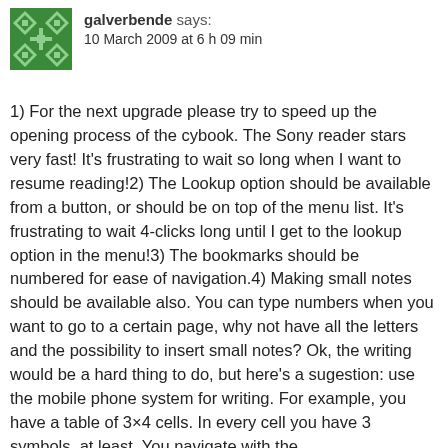[Figure (illustration): Green decorative avatar icon with geometric cross/diamond pattern]
galverbende says:
10 March 2009 at 6 h 09 min
1) For the next upgrade please try to speed up the opening process of the cybook. The Sony reader stars very fast! It's frustrating to wait so long when I want to resume reading!2) The Lookup option should be available from a button, or should be on top of the menu list. It's frustrating to wait 4-clicks long until I get to the lookup option in the menu!3) The bookmarks should be numbered for ease of navigation.4) Making small notes should be available also. You can type numbers when you want to go to a certain page, why not have all the letters and the possibility to insert small notes? Ok, the writing would be a hard thing to do, but here's a sugestion: use the mobile phone system for writing. For example, you have a table of 3×4 cells. In every cell you have 3 symbols, at least. You navigate with the